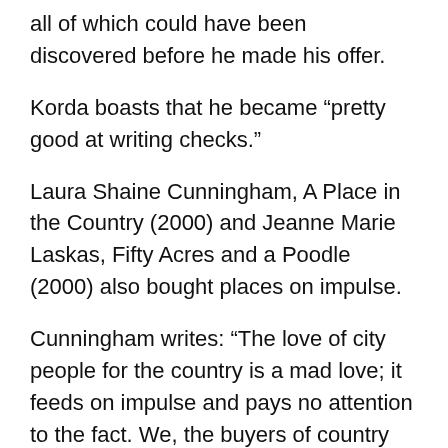all of which could have been discovered before he made his offer.
Korda boasts that he became “pretty good at writing checks.”
Laura Shaine Cunningham, A Place in the Country (2000) and Jeanne Marie Laskas, Fifty Acres and a Poodle (2000) also bought places on impulse.
Cunningham writes: “The love of city people for the country is a mad love; it feeds on impulse and pays no attention to the fact. We, the buyers of country places, don’t want to know too much about them before we take possession. We never dwell on the nasty mathematics of cost or hear the ‘mort’ in the mortgage.”